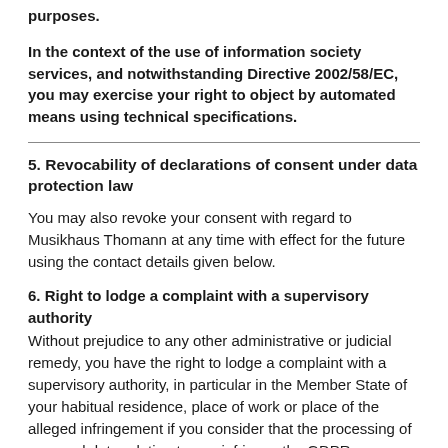purposes.
In the context of the use of information society services, and notwithstanding Directive 2002/58/EC, you may exercise your right to object by automated means using technical specifications.
5. Revocability of declarations of consent under data protection law
You may also revoke your consent with regard to Musikhaus Thomann at any time with effect for the future using the contact details given below.
6. Right to lodge a complaint with a supervisory authority Without prejudice to any other administrative or judicial remedy, you have the right to lodge a complaint with a supervisory authority, in particular in the Member State of your habitual residence, place of work or place of the alleged infringement if you consider that the processing of personal data relating to you infringes the GDPR.